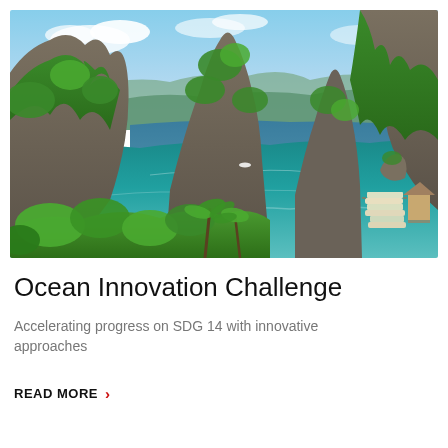[Figure (photo): Aerial/elevated view of a tropical island lagoon with dramatic limestone karst rock formations covered in lush green vegetation, turquoise clear water, and traditional outrigger boats docked near a small coastal structure. Blue sky with light clouds in the background. Resembles Coron or El Nido, Palawan, Philippines.]
Ocean Innovation Challenge
Accelerating progress on SDG 14 with innovative approaches
READ MORE >